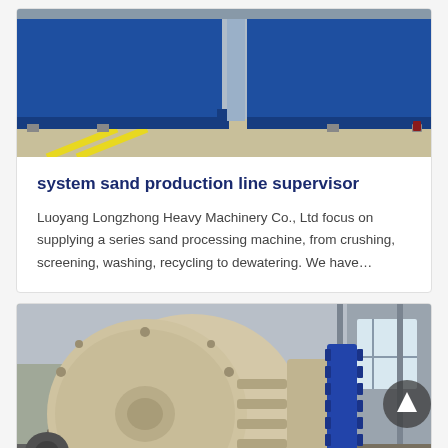[Figure (photo): Top photo showing blue industrial machinery/equipment boxes on a factory floor with yellow lane markings]
system sand production line supervisor
Luoyang Longzhong Heavy Machinery Co., Ltd focus on supplying a series sand processing machine, from crushing, screening, washing, recycling to dewatering. We have…
[Figure (photo): Large industrial ball mill machine, cream/beige colored, photographed inside a manufacturing facility. Visible gear teeth on the right side, large circular drum with ventilation slots.]